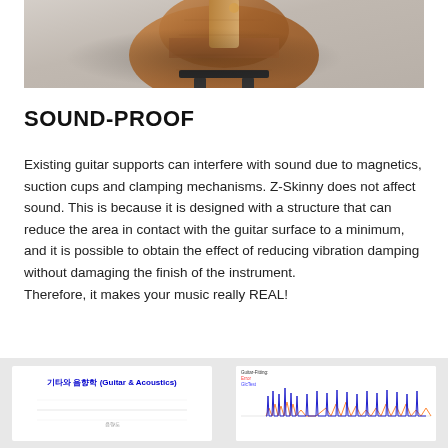[Figure (photo): Back view of a classical guitar on a stand/support against a light gray background]
SOUND-PROOF
Existing guitar supports can interfere with sound due to magnetics, suction cups and clamping mechanisms. Z-Skinny does not affect sound. This is because it is designed with a structure that can reduce the area in contact with the guitar surface to a minimum, and it is possible to obtain the effect of reducing vibration damping without damaging the finish of the instrument.
Therefore, it makes your music really REAL!
[Figure (screenshot): Two side-by-side panels at bottom: left panel shows a Korean/English title '기타와 음향학 (Guitar & Acoustics)' on white background; right panel shows waveform/acoustic analysis graph]